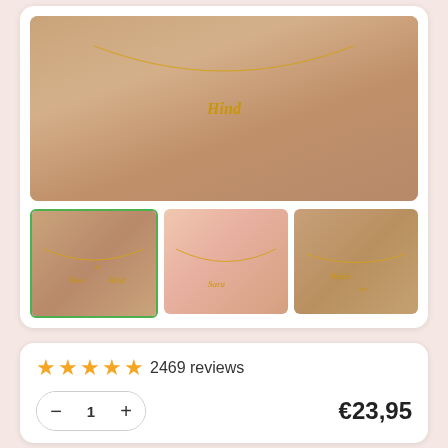[Figure (photo): Main product photo: close-up of a gold name necklace reading 'Hind' on a woman's neck/chest, warm skin-tone background]
[Figure (photo): Thumbnail 1 (selected, green border): gold multi-name necklace on woman's neck]
[Figure (photo): Thumbnail 2: gold name necklace on woman in pink top]
[Figure (photo): Thumbnail 3: gold name necklace on woman in grey top]
2469 reviews
1
€23,95